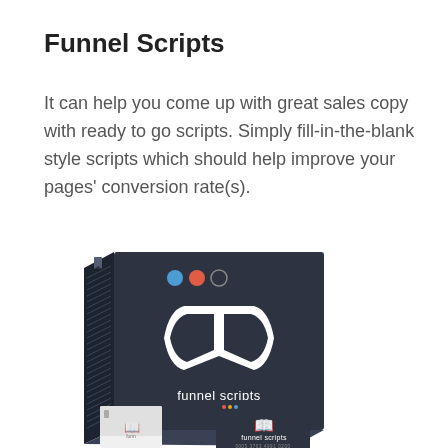Funnel Scripts
It can help you come up with great sales copy with ready to go scripts. Simply fill-in-the-blank style scripts which should help improve your pages' conversion rate(s).
[Figure (illustration): Product box illustration for 'funnel scripts' software — dark navy box with blue, red, and gray dots (traffic light style) at top, white open book icon in center, text 'funnel scripts' at bottom. Below and in front are smaller boxes and a card also branded 'funnel scripts'.]